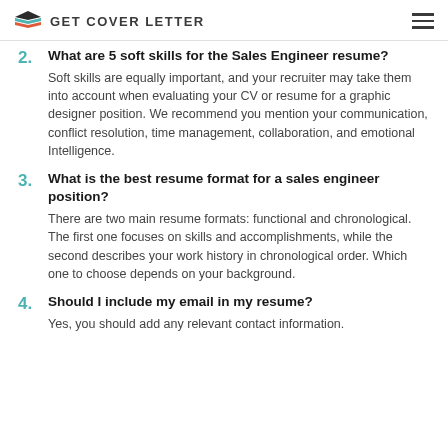GET COVER LETTER
2. What are 5 soft skills for the Sales Engineer resume?
Soft skills are equally important, and your recruiter may take them into account when evaluating your CV or resume for a graphic designer position. We recommend you mention your communication, conflict resolution, time management, collaboration, and emotional Intelligence.
3. What is the best resume format for a sales engineer position?
There are two main resume formats: functional and chronological. The first one focuses on skills and accomplishments, while the second describes your work history in chronological order. Which one to choose depends on your background.
4. Should I include my email in my resume?
Yes, you should add any relevant contact information.